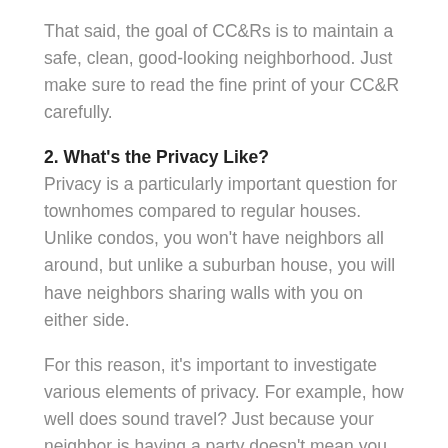That said, the goal of CC&Rs is to maintain a safe, clean, good-looking neighborhood. Just make sure to read the fine print of your CC&R carefully.
2. What's the Privacy Like?
Privacy is a particularly important question for townhomes compared to regular houses. Unlike condos, you won't have neighbors all around, but unlike a suburban house, you will have neighbors sharing walls with you on either side.
For this reason, it's important to investigate various elements of privacy. For example, how well does sound travel? Just because your neighbor is having a party doesn't mean you want to be invited, especially if you're trying to